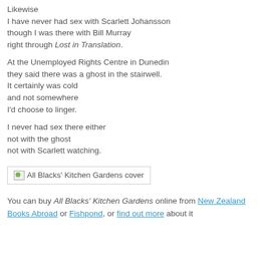Likewise
I have never had sex with Scarlett Johansson
though I was there with Bill Murray
right through Lost in Translation.
At the Unemployed Rights Centre in Dunedin
they said there was a ghost in the stairwell.
It certainly was cold
and not somewhere
I'd choose to linger.
I never had sex there either
not with the ghost
not with Scarlett watching.
[Figure (illustration): Book cover image for All Blacks' Kitchen Gardens, shown as a broken image placeholder with alt text: All Blacks' Kitchen Gardens cover]
You can buy All Blacks' Kitchen Gardens online from New Zealand Books Abroad or Fishpond, or find out more about it...